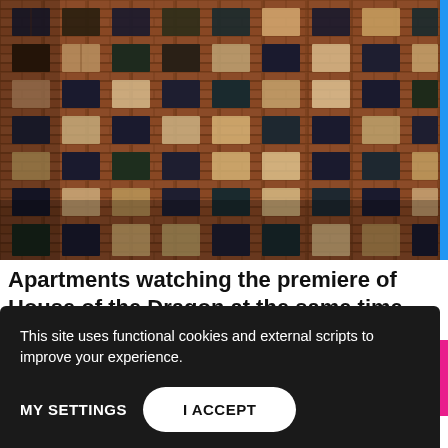[Figure (photo): Nighttime photo of a tall brick apartment building facade with many lit windows, taken from below at an angle.]
Apartments watching the premiere of House of the Dragon at the same time – brand-new
This site uses functional cookies and external scripts to improve your experience.
MY SETTINGS   I ACCEPT